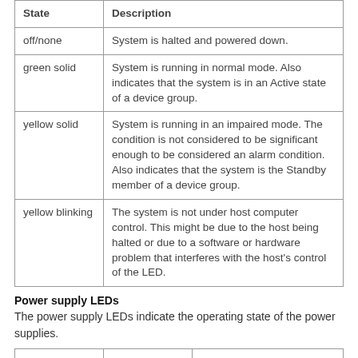| State | Description |
| --- | --- |
| off/none | System is halted and powered down. |
| green solid | System is running in normal mode. Also indicates that the system is in an Active state of a device group. |
| yellow solid | System is running in an impaired mode. The condition is not considered to be significant enough to be considered an alarm condition. Also indicates that the system is the Standby member of a device group. |
| yellow blinking | The system is not under host computer control. This might be due to the host being halted or due to a software or hardware problem that interferes with the host's control of the LED. |
Power supply LEDs
The power supply LEDs indicate the operating state of the power supplies.
| Power 1 state | Power 2 state | Description |
| --- | --- | --- |
| green | green | Power supply is present and operating |